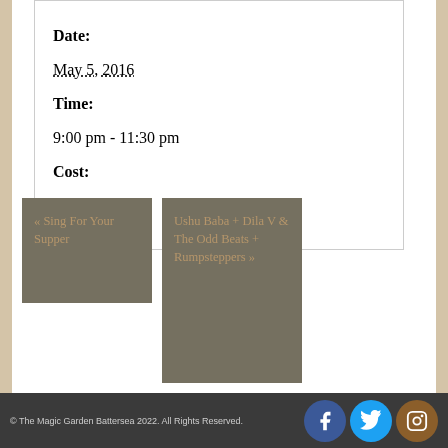Date: May 5, 2016
Time: 9:00 pm - 11:30 pm
Cost: Free entry!
« Sing For Your Supper
Ushu Baba + Dila V & The Odd Beats + Rumpsteppers »
© The Magic Garden Battersea 2022. All Rights Reserved.